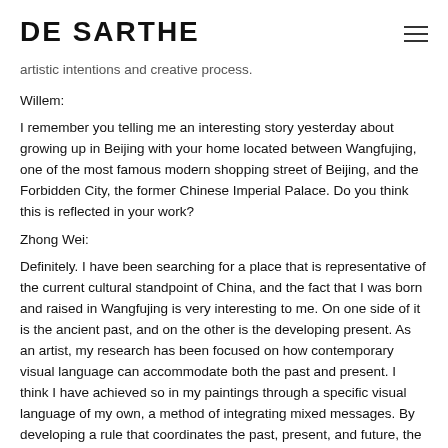DE SARTHE
artistic intentions and creative process.
Willem:
I remember you telling me an interesting story yesterday about growing up in Beijing with your home located between Wangfujing, one of the most famous modern shopping street of Beijing, and the Forbidden City, the former Chinese Imperial Palace. Do you think this is reflected in your work?
Zhong Wei:
Definitely. I have been searching for a place that is representative of the current cultural standpoint of China, and the fact that I was born and raised in Wangfujing is very interesting to me. On one side of it is the ancient past, and on the other is the developing present. As an artist, my research has been focused on how contemporary visual language can accommodate both the past and present. I think I have achieved so in my paintings through a specific visual language of my own, a method of integrating mixed messages. By developing a rule that coordinates the past, present, and future, the